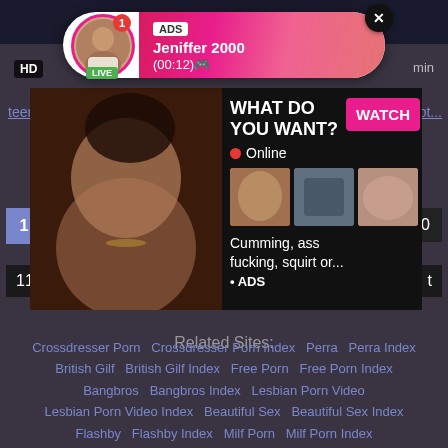[Figure (screenshot): Adult website screenshot with notification popup showing 'ADS Jeniffer 2000 (00:12)' with live avatar, and an adult ad overlay with 'WHAT DO YOU WANT? WATCH' button, Online status, thumbnails, and text 'Cumming, ass fucking, squirt or... ADS']
HD
min
ADS
Jeniffer 2000
(00:12)🎮
LIVE
teen,
oot...
WHAT DO YOU WANT?
WATCH
Online
Cumming, ass fucking, squirt or...
• ADS
1
10
11
t
Related Sites:
Crossdresser Porn   Crossdresser Porn Index   Perra   Perra Index   British Gilf   British Gilf Index   Free Porn   Free Porn Index   Bangbros   Bangbros Index   Lesbian Porn Video   Lesbian Porn Video Index   Beautiful Sex   Beautiful Sex Index   Flashby   Flashby Index   Milf Porn   Milf Porn Index   Art Sex